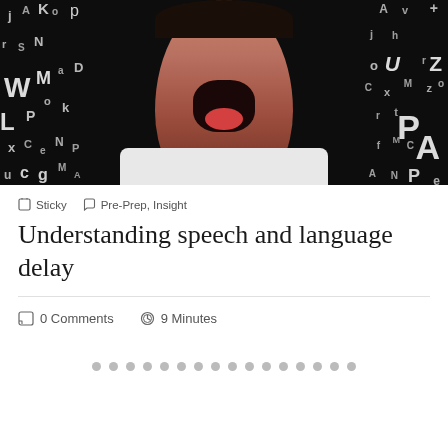[Figure (photo): A young child with mouth wide open, surrounded by floating white alphabet letters on a dark black background. The child is wearing a white shirt.]
Sticky   Pre-Prep, Insight
Understanding speech and language delay
0 Comments   9 Minutes